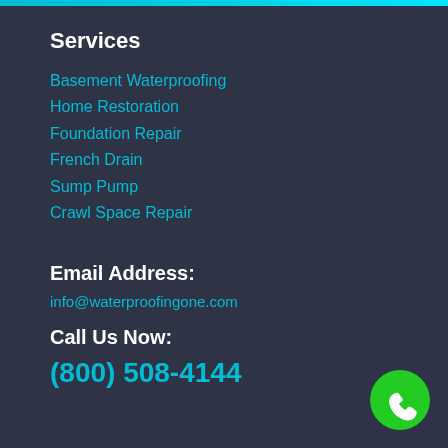Services
Basement Waterproofing
Home Restoration
Foundation Repair
French Drain
Sump Pump
Crawl Space Repair
Email Address:
info@waterproofingone.com
Call Us Now:
(800) 508-4144
[Figure (illustration): Green circular phone icon with white handset symbol]